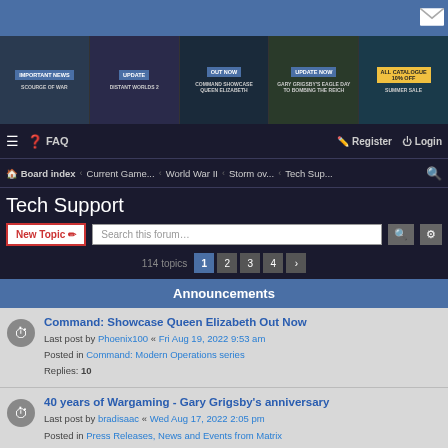[Figure (screenshot): Top blue header bar with envelope/message icon in top right]
[Figure (screenshot): Banner row with 5 game promotion items: IMPORTANT NEWS - SCOURGE OF WAR, UPDATE - DISTANT WORLDS 2, OUT NOW - COMMAND SHOWCASE QUEEN ELIZABETH, UPDATE NOW - GARY GRIGSBY'S EAGLE DAY TO BOMBING THE REICH, ALL CATALOGUE 10% OFF SUMMER SALE]
FAQ | Register | Login
Board index > Current Game... > World War II > Storm ov... > Tech Sup...
Tech Support
New Topic | Search this forum... | 114 topics 1 2 3 4 >
Announcements
Command: Showcase Queen Elizabeth Out Now
Last post by Phoenix100 « Fri Aug 19, 2022 9:53 am
Posted in Command: Modern Operations series
Replies: 10
40 years of Wargaming - Gary Grigsby's anniversary
Last post by bradisaac « Wed Aug 17, 2022 2:05 pm
Posted in Press Releases, News and Events from Matrix
Replies: 23